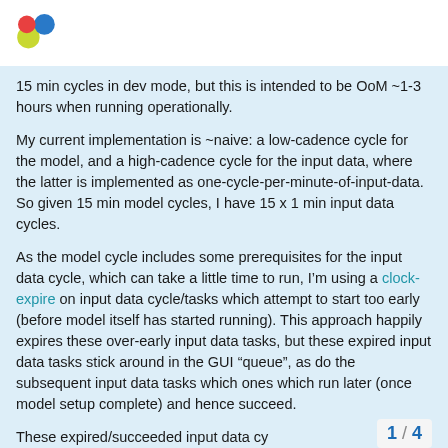[Logo]
15 min cycles in dev mode, but this is intended to be OoM ~1-3 hours when running operationally.
My current implementation is ~naive: a low-cadence cycle for the model, and a high-cadence cycle for the input data, where the latter is implemented as one-cycle-per-minute-of-input-data. So given 15 min model cycles, I have 15 x 1 min input data cycles.
As the model cycle includes some prerequisites for the input data cycle, which can take a little time to run, I’m using a clock-expire on input data cycle/tasks which attempt to start too early (before model itself has started running). This approach happily expires these over-early input data tasks, but these expired input data tasks stick around in the GUI “queue”, as do the subsequent input data tasks which ones which run later (once model setup complete) and hence succeed.
1 / 4
These expired/succeeded input data cy